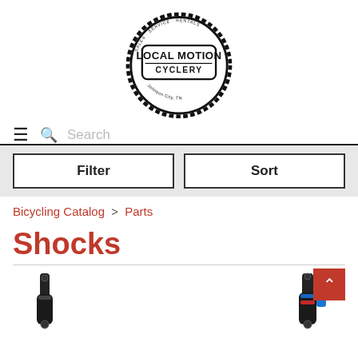[Figure (logo): Local Motion Cyclery logo — circular gear/sprocket shape with 'LOCAL MOTION' in bold block letters and 'CYCLERY' below, 'Sales · Service · Rentals' around top arc, 'Johnson City, TN' around bottom arc]
☰  🔍 Search
Filter  |  Sort
Bicycling Catalog > Parts
Shocks
[Figure (photo): Two bicycle rear shocks partially visible at bottom — left shock is black, right shock is black with blue and red accents. Scroll-to-top button visible on right.]